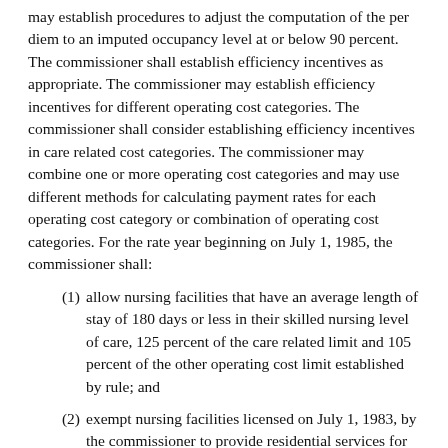may establish procedures to adjust the computation of the per diem to an imputed occupancy level at or below 90 percent. The commissioner shall establish efficiency incentives as appropriate. The commissioner may establish efficiency incentives for different operating cost categories. The commissioner shall consider establishing efficiency incentives in care related cost categories. The commissioner may combine one or more operating cost categories and may use different methods for calculating payment rates for each operating cost category or combination of operating cost categories. For the rate year beginning on July 1, 1985, the commissioner shall:
(1) allow nursing facilities that have an average length of stay of 180 days or less in their skilled nursing level of care, 125 percent of the care related limit and 105 percent of the other operating cost limit established by rule; and
(2) exempt nursing facilities licensed on July 1, 1983, by the commissioner to provide residential services for the physically disabled under Minnesota Rules, parts 9570.2000 to 9570.3600, from the care related limits and allow 105 percent of the other operating cost limit established by rule.
For the purpose of calculating the other operating cost